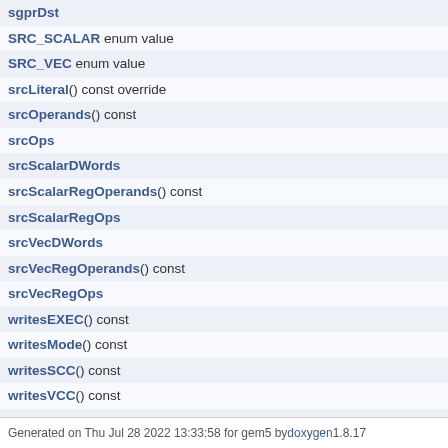sgprDst
SRC_SCALAR enum value
SRC_VEC enum value
srcLiteral() const override
srcOperands() const
srcOps
srcScalarDWords
srcScalarRegOperands() const
srcScalarRegOps
srcVecDWords
srcVecRegOperands() const
srcVecRegOps
writesEXEC() const
writesMode() const
writesSCC() const
writesVCC() const
~GCN3GPUStaticInst()
~GPUStaticInst()
~Inst_VOP3()
~Inst_VOP3__V_MAD_U32_U24()
Generated on Thu Jul 28 2022 13:33:58 for gem5 by doxygen 1.8.17